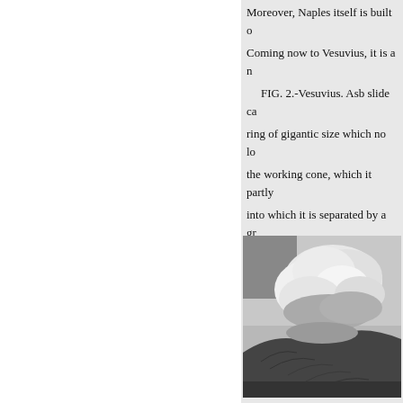Moreover, Naples itself is built o
Coming now to Vesuvius, it is a n
FIG. 2.-Vesuvius. Asb slide ca ring of gigantic size which no lo the working cone, which it partly into which it is separated by a gr the expansion Substance of a dis of gases set free in the interior ov Anderson.
duction of pressure.
[Figure (photo): Black and white photograph of Vesuvius volcano showing billowing smoke/gas clouds rising from the crater, with the volcanic cone visible at the bottom of the image.]